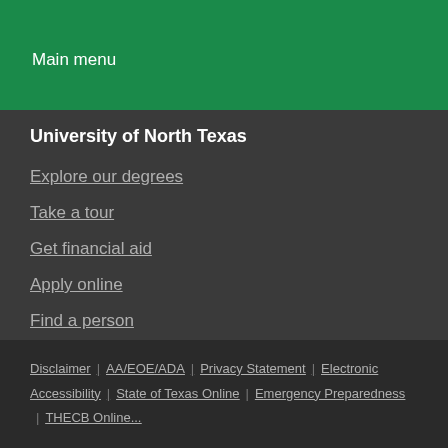Main menu
University of North Texas
Explore our degrees
Take a tour
Get financial aid
Apply online
Find a person
Register for classes
Follow UNT on social media
Disclaimer | AA/EOE/ADA | Privacy Statement | Electronic Accessibility | State of Texas Online | Emergency Preparedness | THECB Online...